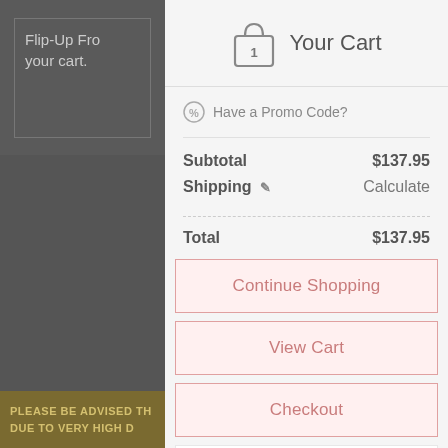Flip-Up Fro... your cart.
Your Cart
Have a Promo Code?
|  |  |
| --- | --- |
| Subtotal | $137.95 |
| Shipping ✎ | Calculate |
Total $137.95
Continue Shopping
View Cart
Checkout
Products you might like
Midwest Industries
PLEASE BE ADVISED TH... DUE TO VERY HIGH D...